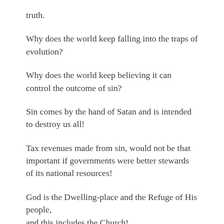truth.
Why does the world keep falling into the traps of evolution?
Why does the world keep believing it can control the outcome of sin?
Sin comes by the hand of Satan and is intended to destroy us all!
Tax revenues made from sin, would not be that important if governments were better stewards of its national resources!
God is the Dwelling-place and the Refuge of His people, and this includes the Church!